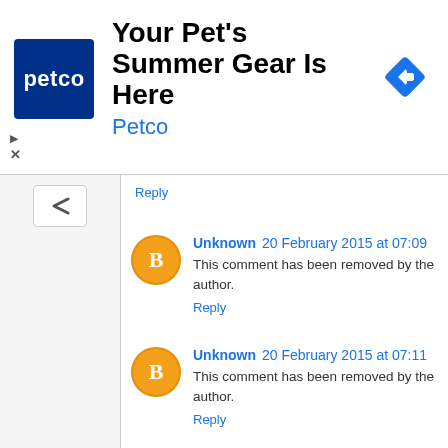[Figure (screenshot): Petco advertisement banner: logo on left, headline 'Your Pet's Summer Gear Is Here', subtext 'Petco', arrow icon on right]
Reply
Unknown 20 February 2015 at 07:09
This comment has been removed by the author.
Reply
Unknown 20 February 2015 at 07:11
This comment has been removed by the author.
Reply
Unknown 20 February 2015 at 07:12
https://www.facebook.com/PtvSports.Biss
Reply